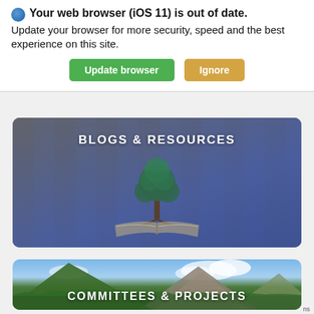Your web browser (iOS 11) is out of date. Update your browser for more security, speed and the best experience on this site.
Update browser | Ignore
[Figure (screenshot): BLOGS & RESOURCES banner with a tree growing from an open book, library background, blue overlay]
[Figure (screenshot): COMMITTEES & PROJECTS banner with mountain landscape and blue sky]